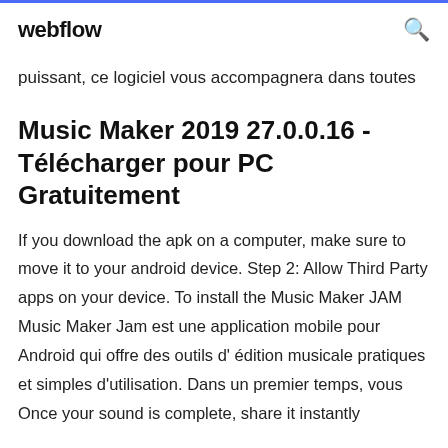webflow
puissant, ce logiciel vous accompagnera dans toutes
Music Maker 2019 27.0.0.16 - Télécharger pour PC Gratuitement
If you download the apk on a computer, make sure to move it to your android device. Step 2: Allow Third Party apps on your device. To install the Music Maker JAM  Music Maker Jam est une application mobile pour Android qui offre des outils d' édition musicale pratiques et simples d'utilisation. Dans un premier temps, vous Once your sound is complete, share it instantly